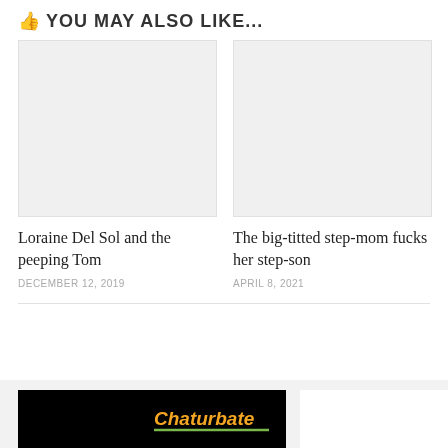YOU MAY ALSO LIKE...
[Figure (photo): Blank/placeholder image for article 1]
Loraine Del Sol and the peeping Tom
DECEMBER 12, 2019
[Figure (photo): Blank/placeholder image for article 2]
The big-titted step-mom fucks her step-son
APRIL 8, 2021
[Figure (screenshot): Chaturbate advertisement banner, black background with Chaturbate logo in orange/yellow text]